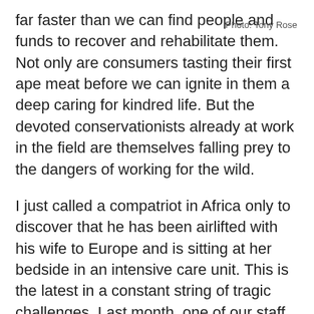far faster than we can find people and funds to recover and rehabilitate them. Not only are consumers tasting their first ape meat before we can ignite in them a deep caring for kindred life. But the devoted conservationists already at work in the field are themselves falling prey to the dangers of working for the wild.
Photo: Tony Rose
I just called a compatriot in Africa only to discover that he has been airlifted with his wife to Europe and is sitting at her bedside in an intensive care unit. This is the latest in a constant string of tragic challenges. Last month, one of our staff spent a week in a British hospital being treated for parasites brought back from the bush. Last summer,